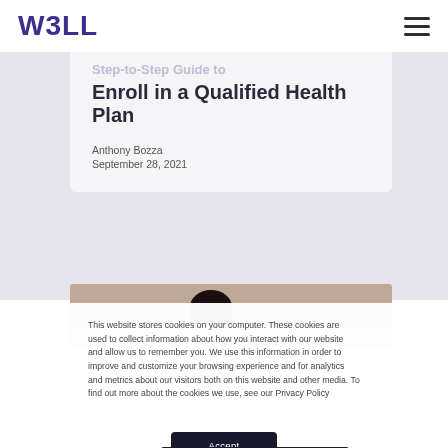W3LL
Step-to-Step Guide to Enroll in a Qualified Health Plan
Anthony Bozza
September 28, 2021
[Figure (photo): Partial photo of a person, cropped at bottom of card area]
This website stores cookies on your computer. These cookies are used to collect information about how you interact with our website and allow us to remember you. We use this information in order to improve and customize your browsing experience and for analytics and metrics about our visitors both on this website and other media. To find out more about the cookies we use, see our Privacy Policy
Accept